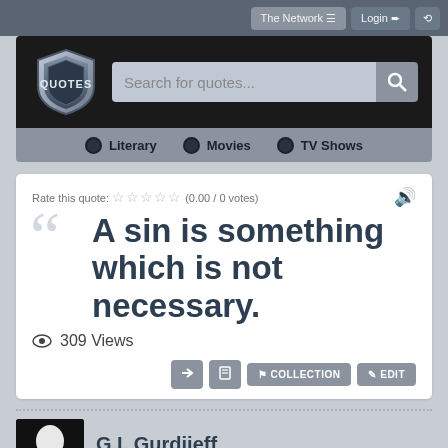The Network  Login
[Figure (screenshot): Quotes website header with shield logo, search bar 'Search for quotes...', and navigation tabs: Literary, Movies, TV Shows]
Rate this quote: (0.00 / 0 votes)
A sin is something which is not necessary.
309 Views
COLLECTION  EDIT
G.I. Gurdjieff